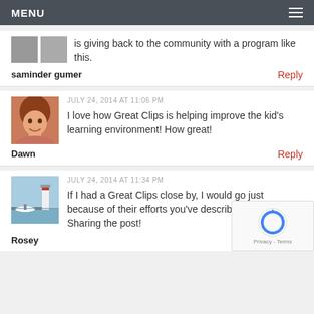MENU
is giving back to the community with a program like this.
saminder gumer
Reply
JULY 24, 2014 AT 11:06 PM
I love how Great Clips is helping improve the kid's learning environment! How great!
Dawn
Reply
JULY 24, 2014 AT 11:34 PM
If I had a Great Clips close by, I would go just because of their efforts you've described here. Sharing the post!
Rosey
Reply